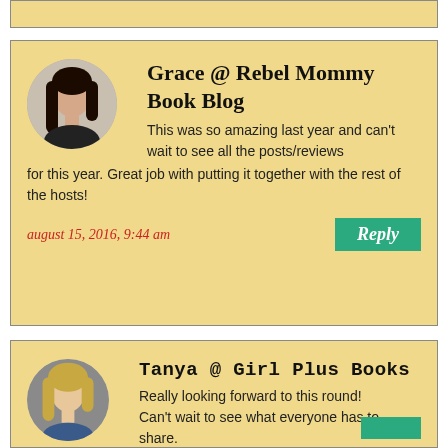[Figure (other): Partial comment card at top of page (cropped)]
Grace @ Rebel Mommy Book Blog
This was so amazing last year and can't wait to see all the posts/reviews for this year. Great job with putting it together with the rest of the hosts!
august 15, 2016, 9:44 am
Reply
Tanya @ Girl Plus Books
Really looking forward to this round! Can't wait to see what everyone has to share.